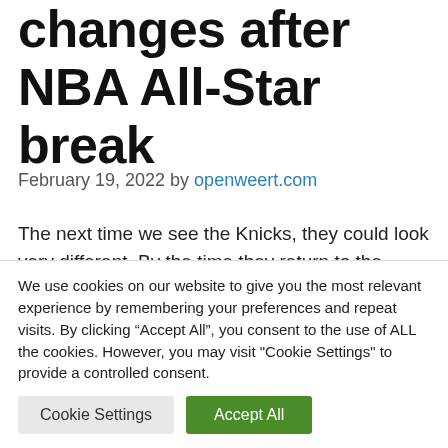changes after NBA All-Star break
February 19, 2022 by openweert.com
The next time we see the Knicks, they could look very different. By the time they return to the court, a full nine days after their latest disastrous loss, there may be major changes.
We use cookies on our website to give you the most relevant experience by remembering your preferences and repeat visits. By clicking “Accept All”, you consent to the use of ALL the cookies. However, you may visit "Cookie Settings" to provide a controlled consent.